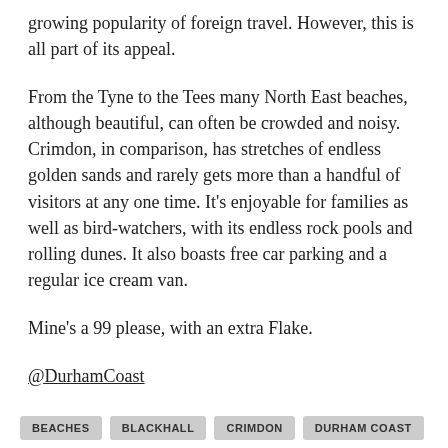growing popularity of foreign travel. However, this is all part of its appeal.
From the Tyne to the Tees many North East beaches, although beautiful, can often be crowded and noisy. Crimdon, in comparison, has stretches of endless golden sands and rarely gets more than a handful of visitors at any one time. It’s enjoyable for families as well as bird-watchers, with its endless rock pools and rolling dunes. It also boasts free car parking and a regular ice cream van.
Mine’s a 99 please, with an extra Flake.
@DurhamCoast
BEACHES  BLACKHALL  CRIMDON  DURHAM COAST